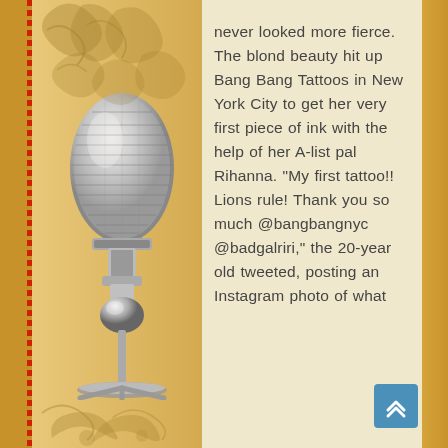[Figure (illustration): Decorative page background with golden/amber tones, ornate scrollwork filigree decoration at top and bottom left, a vintage chrome microphone on a stand on the left side, and a red dotted zipper-style border strip on the far left. A blue back-to-top arrow button appears in the bottom right.]
never looked more fierce. The blond beauty hit up Bang Bang Tattoos in New York City to get her very first piece of ink with the help of her A-list pal Rihanna. "My first tattoo!! Lions rule! Thank you so much @bangbangnyc @badgalriri," the 20-year old tweeted, posting an Instagram photo of what